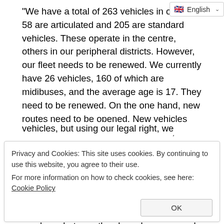“We have a total of 263 vehicles in our fleet. 58 are articulated and 205 are standard vehicles. These operate in the centre, others in our peripheral districts. However, our fleet needs to be renewed. We currently have 26 vehicles, 160 of which are midibuses, and the average age is 17. They need to be renewed. On the one hand, new routes need to be opened. New vehicles are needed there. On the other hand, we need to rejuvenate our existing fleet. We covered 87 vehicles with our own budget. Karsan company realized this sale and production. We made these purchases a while ago. According to the figures of that period, they were already appropriate numbers, but now they have become much more appropriate numbers. Under normal conditions, we had purchased 73 vehicles, but using our legal right, we requested a 30%...
Privacy and Cookies: This site uses cookies. By continuing to use this website, you agree to their use.
For more information on how to check cookies, see here: Cookie Policy